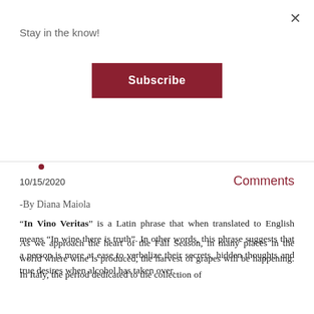Stay in the know!
Subscribe
10/15/2020
Comments
-By Diana Maiola
"In Vino Veritas" is a Latin phrase that when translated to English means "In wine there is truth". In other words, this phrase suggests that a person is more at ease to verbalize their secrets, hidden thoughts and true desires when alcohol has taken over.
As we approach the heart of the Fall Season, in many places in the world where wine is produced, the harvest of grapes will be happening. In Italy, the period dedicated to the collection of